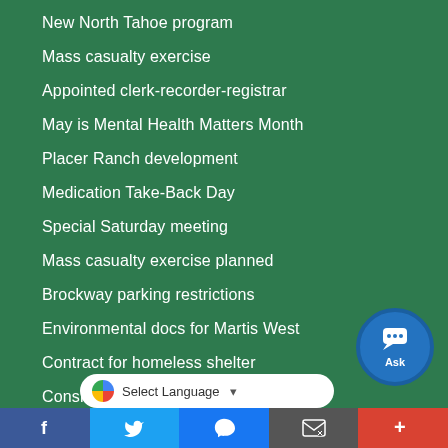New North Tahoe program
Mass casualty exercise
Appointed clerk-recorder-registrar
May is Mental Health Matters Month
Placer Ranch development
Medication Take-Back Day
Special Saturday meeting
Mass casualty exercise planned
Brockway parking restrictions
Environmental docs for Martis West
Contract for homeless shelter
Considering budget challenges
Select Language
[Figure (screenshot): Questions? chat widget with close button and Ask button]
Social sharing bar: Facebook, Twitter, Messenger, Email, More